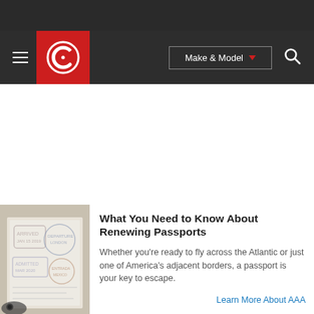[Figure (screenshot): Website navigation bar with hamburger menu, red logo with C icon, Make & Model dropdown button, and search icon on dark background]
[Figure (photo): Close-up photo of passport pages with stamps]
What You Need to Know About Renewing Passports
Whether you're ready to fly across the Atlantic or just one of America's adjacent borders, a passport is your key to escape.
Learn More About AAA